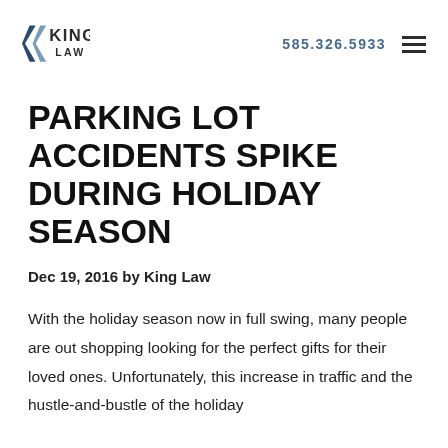KING LAW | 585.326.5933
PARKING LOT ACCIDENTS SPIKE DURING HOLIDAY SEASON
Dec 19, 2016 by King Law
With the holiday season now in full swing, many people are out shopping looking for the perfect gifts for their loved ones. Unfortunately, this increase in traffic and the hustle-and-bustle of the holiday